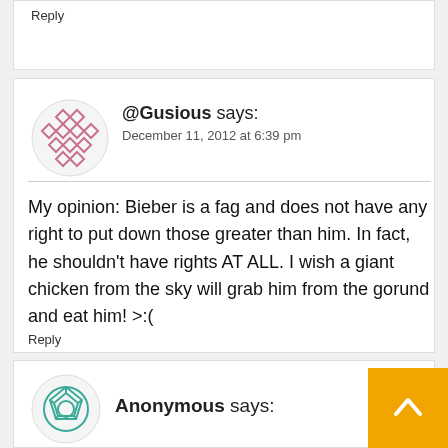Reply
@Gusious says:
December 11, 2012 at 6:39 pm
My opinion: Bieber is a fag and does not have any right to put down those greater than him. In fact, he shouldn't have rights AT ALL. I wish a giant chicken from the sky will grab him from the gorund and eat him! >:(
Reply
Anonymous says: